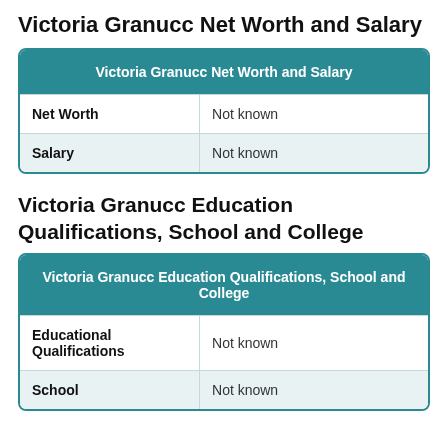Victoria Granucc Net Worth and Salary
| Victoria Granucc Net Worth and Salary |  |
| --- | --- |
| Net Worth | Not known |
| Salary | Not known |
Victoria Granucc Education Qualifications, School and College
| Victoria Granucc Education Qualifications, School and College |  |
| --- | --- |
| Educational Qualifications | Not known |
| School | Not known |